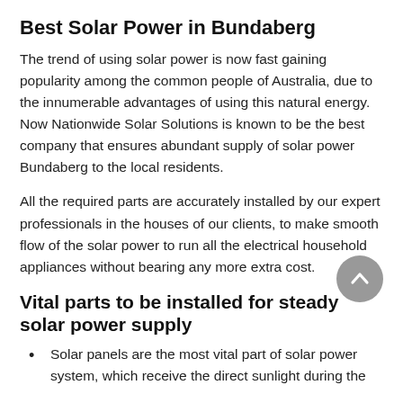Best Solar Power in Bundaberg
The trend of using solar power is now fast gaining popularity among the common people of Australia, due to the innumerable advantages of using this natural energy. Now Nationwide Solar Solutions is known to be the best company that ensures abundant supply of solar power Bundaberg to the local residents.
All the required parts are accurately installed by our expert professionals in the houses of our clients, to make smooth flow of the solar power to run all the electrical household appliances without bearing any more extra cost.
Vital parts to be installed for steady solar power supply
Solar panels are the most vital part of solar power system, which receive the direct sunlight during the ...